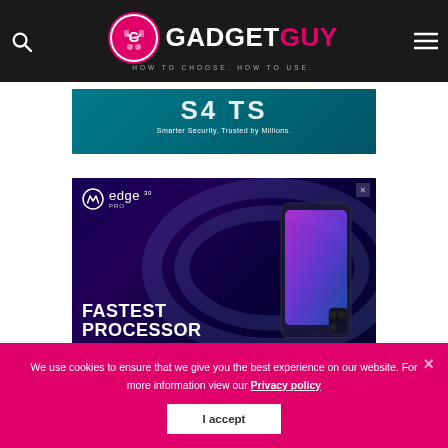GadgetGuy – How to choose. How to use.
[Figure (screenshot): Partial advertisement banner with teal background, text partially visible: 'Smarter Security. Trusted by Millions.']
[Figure (screenshot): Motorola Edge 30 Pro advertisement with dark blue/purple background showing the phone and text 'FASTEST PROCESSOR']
We use cookies to ensure that we give you the best experience on our website. For more information view our Privacy policy
I accept